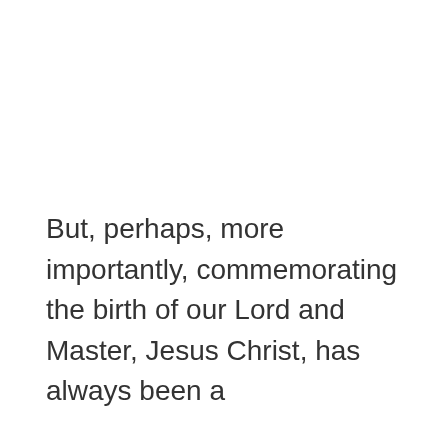But, perhaps, more importantly, commemorating the birth of our Lord and Master, Jesus Christ, has always been a